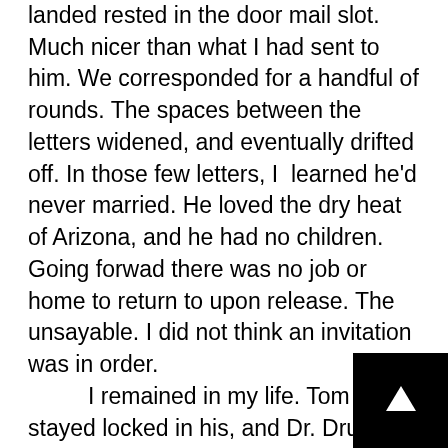landed rested in the door mail slot. Much nicer than what I had sent to him. We corresponded for a handful of rounds. The spaces between the letters widened, and eventually drifted off. In those few letters, I  learned he'd never married. He loved the dry heat of Arizona, and he had no children. Going forwad there was no job or home to return to upon release. The unsayable. I did not think an invitation was in order.
	I remained in my life. Tom stayed locked in his, and Dr. Drucker never plagued my half-dreams again. I thought little of Tom, other than in passing, until a few years later when a letter came from him about his upcoming release. He asked if he could come to visit. A short visit. To get back on his feet.
[Figure (other): Black square button with white upward-pointing arrow in the bottom-right corner of the page]